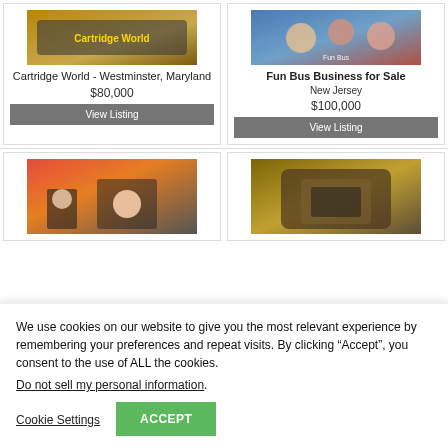[Figure (photo): Cartridge World store exterior sign photo]
Cartridge World - Westminster, Maryland
$80,000
View Listing
[Figure (photo): Fun Bus children on a bus photo]
Fun Bus Business for Sale
New Jersey
$100,000
View Listing
[Figure (photo): Retail store with staff helping customer]
[Figure (photo): Franchise store exterior storefront]
We use cookies on our website to give you the most relevant experience by remembering your preferences and repeat visits. By clicking “Accept”, you consent to the use of ALL the cookies.
Do not sell my personal information.
Cookie Settings
ACCEPT